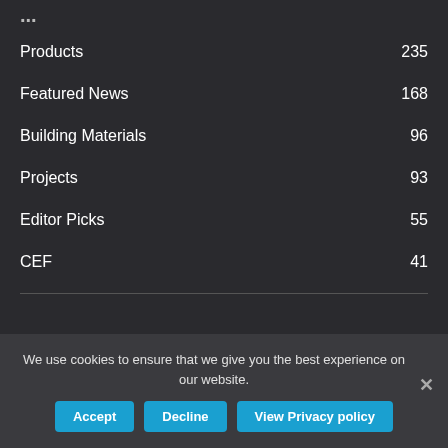Products 235
Featured News 168
Building Materials 96
Projects 93
Editor Picks 55
CEF 41
[Figure (logo): nibuilder logo — 'ni' in blue, 'builder' in white, bold sans-serif]
We use cookies to ensure that we give you the best experience on our website.
Accept | Decline | View Privacy policy